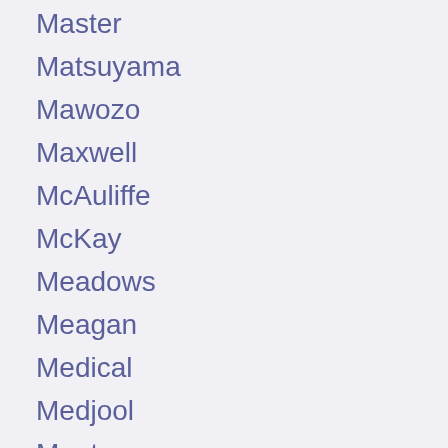Master
Matsuyama
Mawozo
Maxwell
McAuliffe
McKay
Meadows
Meagan
Medical
Medjool
Meets
members
Merck's